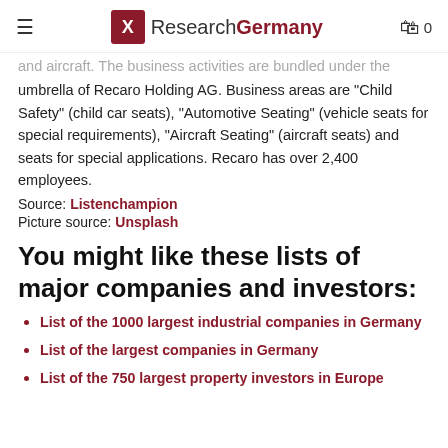ResearchGermany
and aircraft. The business activities are bundled under the umbrella of Recaro Holding AG. Business areas are “Child Safety” (child car seats), “Automotive Seating” (vehicle seats for special requirements), “Aircraft Seating” (aircraft seats) and seats for special applications. Recaro has over 2,400 employees.
Source: Listenchampion
Picture source: Unsplash
You might like these lists of major companies and investors:
List of the 1000 largest industrial companies in Germany
List of the largest companies in Germany
List of the 750 largest property investors in Europe